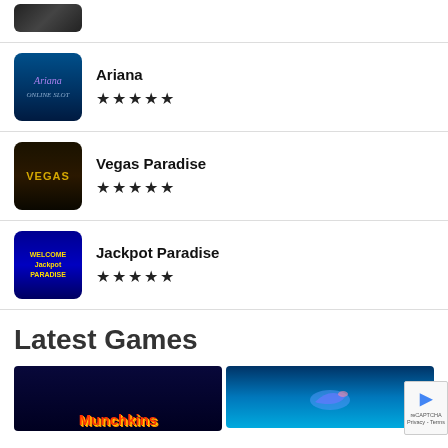[Figure (screenshot): Thumbnail image of a game (partial, dark background)]
[Figure (screenshot): Ariana Online Slot game thumbnail with blue underwater theme and cursive Ariana text]
Ariana
★★★★★
[Figure (screenshot): Vegas Paradise game thumbnail with dark city lights and golden Vegas text]
Vegas Paradise
★★★★★
[Figure (screenshot): Jackpot Paradise game thumbnail with blue background and Welcome to Jackpot Paradise sign]
Jackpot Paradise
★★★★★
Latest Games
[Figure (screenshot): Munchkins game thumbnail with dark background and orange text]
[Figure (screenshot): Dolphin-themed game thumbnail with blue underwater background]